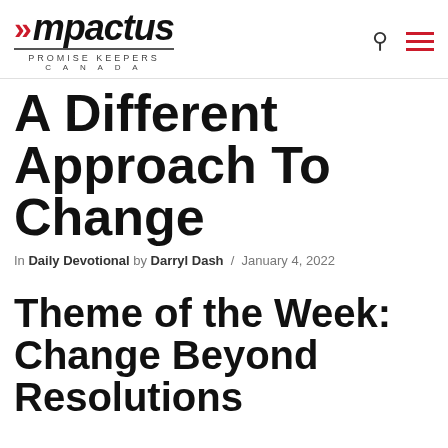Impactus — Promise Keepers Canada
A Different Approach To Change
In Daily Devotional by Darryl Dash / January 4, 2022
Theme of the Week: Change Beyond Resolutions